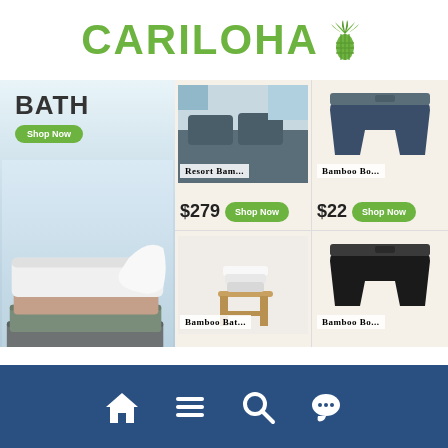[Figure (logo): Cariloha brand logo with green text and pineapple icon]
[Figure (photo): BATH section with stacked bamboo towels in white, beige, and gray on left panel with Shop Now button]
[Figure (photo): Resort Bam... product image - dark gray bedding]
Resort Bam...
$279
Shop Now
[Figure (photo): Bamboo Bo... product image - navy boxer briefs]
Bamboo Bo...
$22
Shop Now
[Figure (photo): Bamboo Bat... product image - white towels on wooden stool]
Bamboo Bat...
$49
Shop Now
[Figure (photo): Bamboo Bo... product image - black boxer briefs]
Bamboo Bo...
$22
Shop Now
Navigation bar with home, menu, search, and chat icons